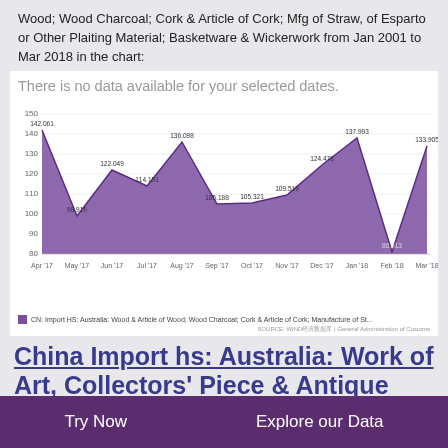Wood; Wood Charcoal; Cork & Article of Cork; Mfg of Straw, of Esparto or Other Plaiting Material; Basketware & Wickerwork from Jan 2001 to Mar 2018 in the chart:
[Figure (line-chart): There is no data available for your selected dates.]
China Import hs: Australia: Work of Art, Collectors' Piece & Antique
Try Now
Explore our Data